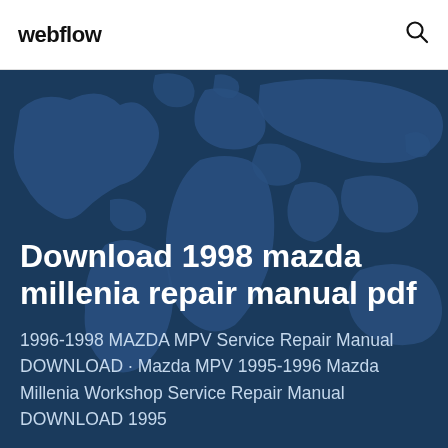webflow
[Figure (illustration): World map silhouette in dark blue tones used as hero background image]
Download 1998 mazda millenia repair manual pdf
1996-1998 MAZDA MPV Service Repair Manual DOWNLOAD · Mazda MPV 1995-1996 Mazda Millenia Workshop Service Repair Manual DOWNLOAD 1995